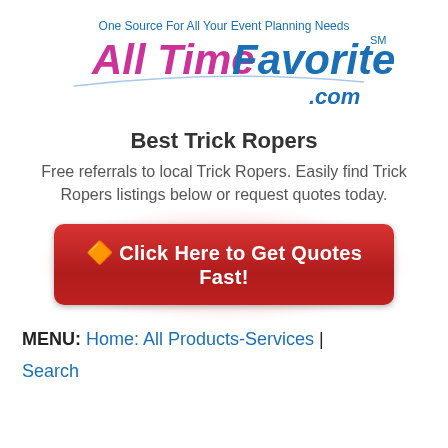[Figure (logo): All Time Favorites .com logo with tagline 'One Source For All Your Event Planning Needs'. Brand name in pink/magenta and blue with .com in blue, decorative swoosh line.]
Best Trick Ropers
Free referrals to local Trick Ropers. Easily find Trick Ropers listings below or request quotes today.
[Figure (infographic): Red gradient button with yellow arrow emoji: Click Here to Get Quotes Fast!]
MENU: Home: All Products-Services | Search